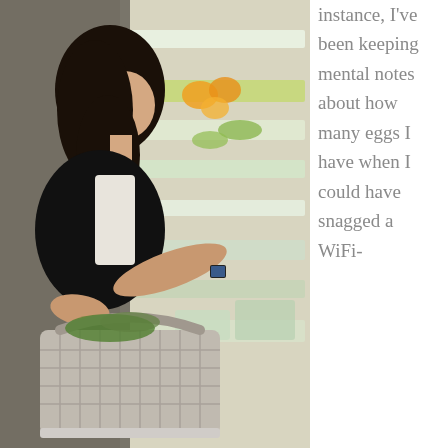[Figure (photo): A woman carrying a basket in a grocery store, looking at her smartwatch while browsing the produce section.]
instance, I've been keeping mental notes about how many eggs I have when I could have snagged a WiFi-